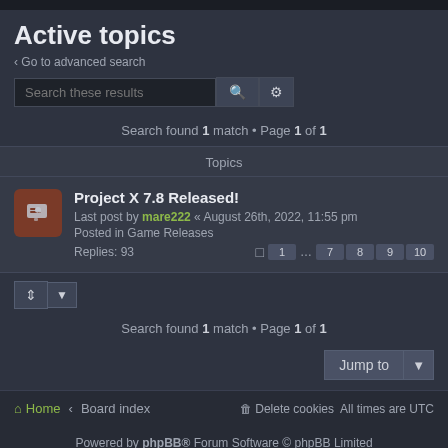Active topics
‹ Go to advanced search
Search found 1 match • Page 1 of 1
Topics
Project X 7.8 Released! Last post by mare222 « August 26th, 2022, 11:55 pm Posted in Game Releases Replies: 93
Search found 1 match • Page 1 of 1
Home ‹ Board index   Delete cookies   All times are UTC
Powered by phpBB® Forum Software © phpBB Limited Privacy | Terms